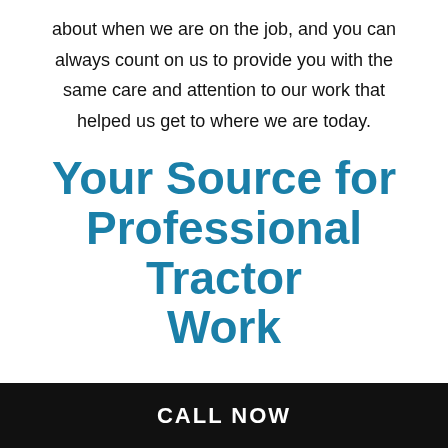about when we are on the job, and you can always count on us to provide you with the same care and attention to our work that helped us get to where we are today.
Your Source for Professional Tractor Work
If your building project requires heavy-duty equipment, put your trust in our well-versed team of experts. We are never content with
CALL NOW